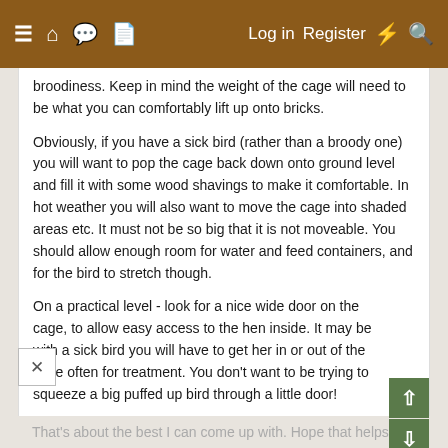≡ 🏠 💬 📄   Log in   Register   ⚡   🔍
broodiness. Keep in mind the weight of the cage will need to be what you can comfortably lift up onto bricks.
Obviously, if you have a sick bird (rather than a broody one) you will want to pop the cage back down onto ground level and fill it with some wood shavings to make it comfortable. In hot weather you will also want to move the cage into shaded areas etc. It must not be so big that it is not moveable. You should allow enough room for water and feed containers, and for the bird to stretch though.
On a practical level - look for a nice wide door on the cage, to allow easy access to the hen inside. It may be with a sick bird you will have to get her in or out of the cage often for treatment. You don't want to be trying to squeeze a big puffed up bird through a little door!
That's about the best I can come up with. Hope that helps!
Krista